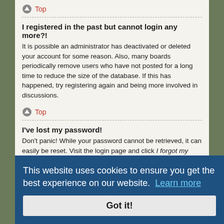Top
I registered in the past but cannot login any more?!
It is possible an administrator has deactivated or deleted your account for some reason. Also, many boards periodically remove users who have not posted for a long time to reduce the size of the database. If this has happened, try registering again and being more involved in discussions.
Top
I've lost my password!
Don't panic! While your password cannot be retrieved, it can easily be reset. Visit the login page and click I forgot my password. Follow the instructions and you should be able to log in again shortly. However, if you are not able to reset your password, contact a board administrator.
Why am I logged on automatically (partially obscured)
If you do not check the Remember me box when you login the board will only keep you logged in for a preset time. This prevents misuse of your account by anyone else. To stay logged in, check the Remember me box during login. This is not recommended if you access the board from a shared computer, e.g. library, internet cafe, university computer lab, etc.
This website uses cookies to ensure you get the best experience on our website. Learn more
Got it!